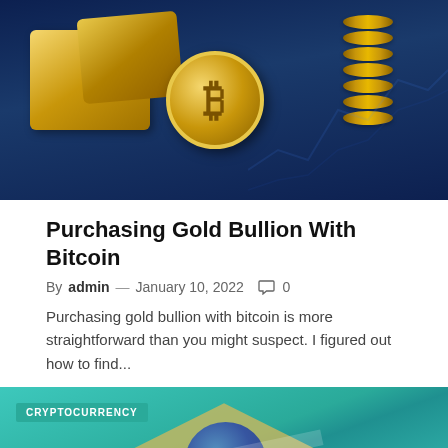[Figure (photo): Bitcoin gold coin in front of gold bars and stacked coins, on a dark blue background with chart lines]
Purchasing Gold Bullion With Bitcoin
By admin — January 10, 2022  0
Purchasing gold bullion with bitcoin is more straightforward than you might suspect. I figured out how to find...
[Figure (photo): Blurred Brazilian flag (green background with yellow diamond and blue circle) with a silver coin in the foreground, with a CRYPTOCURRENCY badge overlay]